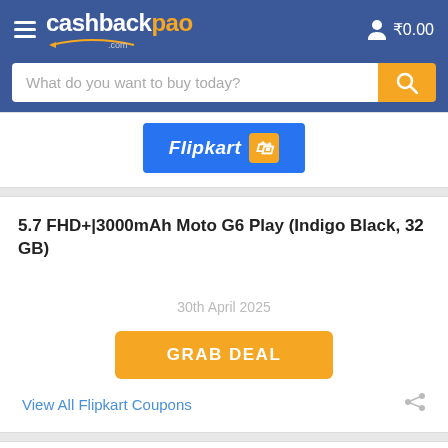cashbackpao.com — ₹0.00
What do you want to buy today?
[Figure (logo): Flipkart logo button (blue background, white italic text, orange F icon)]
5.7 FHD+|3000mAh Moto G6 Play (Indigo Black, 32 GB)
30th April 2025
GRAB DEAL
View All Flipkart Coupons
[Figure (logo): Flipkart logo button (blue background, white italic text, orange F icon) — partial second card]